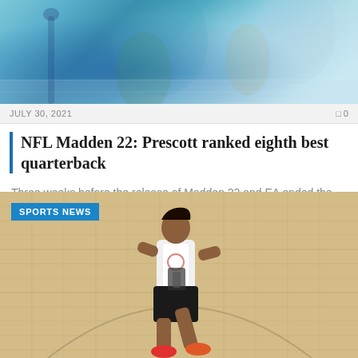[Figure (photo): NFL football action photo showing players in teal and blue uniforms on the field]
JULY 30, 2021
0
NFL Madden 22: Prescott ranked eighth best quarterback
Three weeks before the release of Madden 22 and EA ended the ratings week with...
[Figure (photo): Basketball player in white jersey on a hardwood court, leaning forward in athletic stance during what appears to be a skills competition, wearing red shoes]
SPORTS NEWS